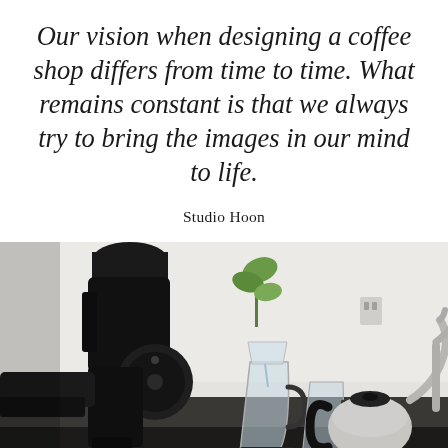Our vision when designing a coffee shop differs from time to time. What remains constant is that we always try to bring the images in our mind to life.
Studio Hoon
[Figure (photo): Close-up photo of a coffee shop bar setup with a large black espresso grinder/machine on the left foreground, glass pour-over coffee vessels in the center, a stainless steel gooseneck kettle on the right, and a faucet in the far right. A small green plant is visible in the background on a white wall. The counter surface is dark/black.]